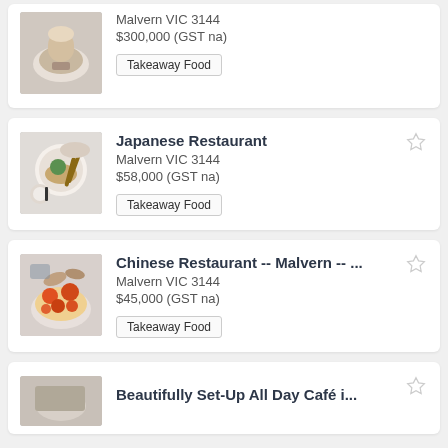Malvern VIC 3144
$300,000 (GST na)
Takeaway Food
Japanese Restaurant
Malvern VIC 3144
$58,000 (GST na)
Takeaway Food
Chinese Restaurant -- Malvern -- ...
Malvern VIC 3144
$45,000 (GST na)
Takeaway Food
Beautifully Set-Up All Day Café i...